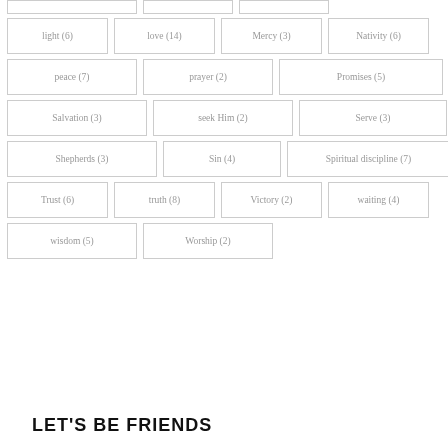light (6)
love (14)
Mercy (3)
Nativity (6)
peace (7)
prayer (2)
Promises (5)
Salvation (3)
seek Him (2)
Serve (3)
Shepherds (3)
Sin (4)
Spiritual discipline (7)
Trust (6)
truth (8)
Victory (2)
waiting (4)
wisdom (5)
Worship (2)
LET'S BE FRIENDS